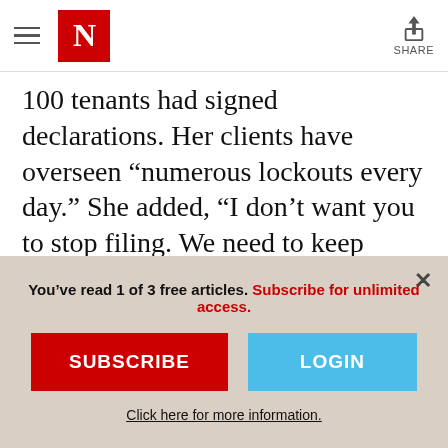Newsweek — hamburger menu, N logo, Share button
100 tenants had signed declarations. Her clients have overseen “numerous lockouts every day.” She added, “I don’t want you to stop filing. We need to keep filing.”
And when tenants do sign forms, “I am challenging or encouraging my clients to consider challenging,” she said. When judges allow her to cross-examine tenants, she said,
You’ve read 1 of 3 free articles. Subscribe for unlimited access.
SUBSCRIBE
LOGIN
Click here for more information.